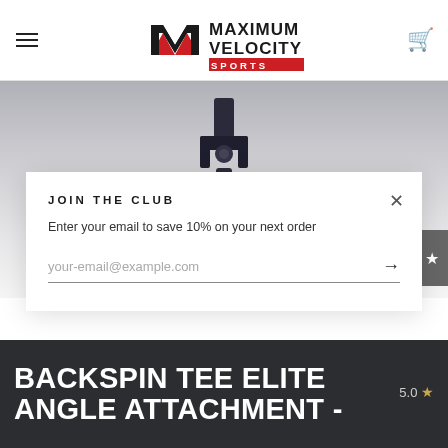Maximum Velocity Sports
[Figure (photo): Close-up photo of Backspin Tee Elite Angle Attachment hardware component - a black metal bracket/clamp with silver metal bolt/connector piece at the bottom, on a grey gradient background]
JOIN THE CLUB
Enter your email to save 10% on your next order
your-email@example.com
BACKSPIN TEE ELITE ANGLE ATTACHMENT -
5.0 ★